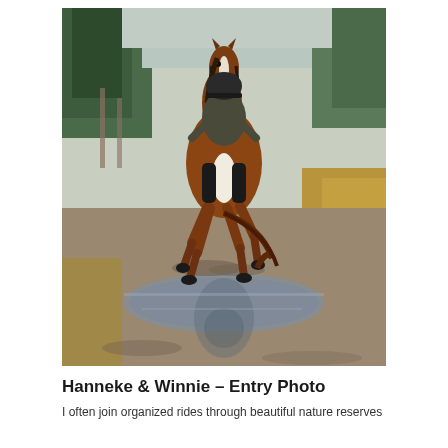[Figure (photo): A rider on a chestnut and white paint horse galloping through a muddy water crossing in a natural outdoor setting with trees and dry grass in the background. The horse is mid-stride with all four hooves off the ground, splashing through a puddle. The reflection of the horse is visible in the water below.]
Hanneke & Winnie – Entry Photo
I often join organized rides through beautiful nature reserves